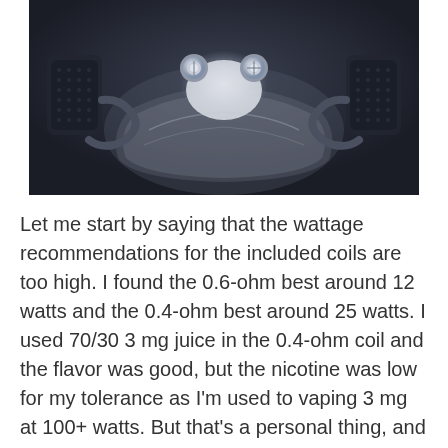[Figure (photo): Close-up macro photograph of a vape atomizer/tank component showing coil deck with metallic screws and clear tank reservoir against dark background]
Let me start by saying that the wattage recommendations for the included coils are too high. I found the 0.6-ohm best around 12 watts and the 0.4-ohm best around 25 watts. I used 70/30 3 mg juice in the 0.4-ohm coil and the flavor was good, but the nicotine was low for my tolerance as I'm used to vaping 3 mg at 100+ watts. But that's a personal thing, and the flavor was good for a 25-watt coil. It had good flavor at times...